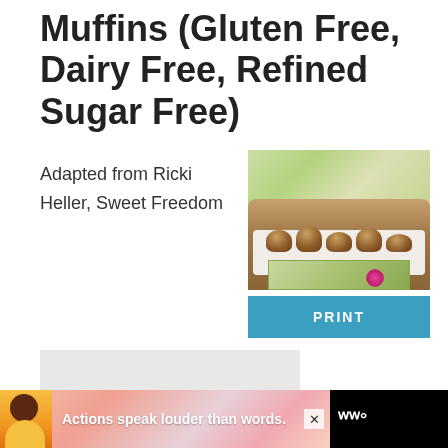Muffins (Gluten Free, Dairy Free, Refined Sugar Free)
Adapted from Ricki Heller, Sweet Freedom
[Figure (photo): Photo of muffins in a cloth-lined decorative basket on a wooden table outdoors]
PRINT
[Figure (other): Gray placeholder advertisement box]
[Figure (other): Advertisement banner at bottom: person in yellow shirt, text 'Actions speak louder than words.' with close button and logo]